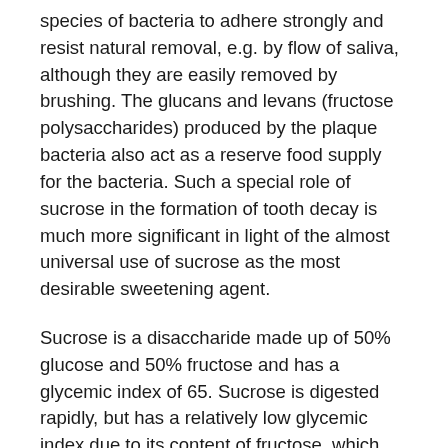species of bacteria to adhere strongly and resist natural removal, e.g. by flow of saliva, although they are easily removed by brushing. The glucans and levans (fructose polysaccharides) produced by the plaque bacteria also act as a reserve food supply for the bacteria. Such a special role of sucrose in the formation of tooth decay is much more significant in light of the almost universal use of sucrose as the most desirable sweetening agent.
Sucrose is a disaccharide made up of 50% glucose and 50% fructose and has a glycemic index of 65. Sucrose is digested rapidly, but has a relatively low glycemic index due to its content of fructose, which has a minimal effect on blood glucose.